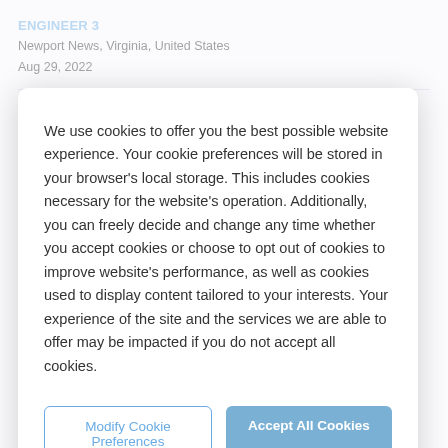ENGINEER 3
Newport News, Virginia, United States
Aug 29, 2022
ENGINEER MECHANICAL 1
We use cookies to offer you the best possible website experience. Your cookie preferences will be stored in your browser's local storage. This includes cookies necessary for the website's operation. Additionally, you can freely decide and change any time whether you accept cookies or choose to opt out of cookies to improve website's performance, as well as cookies used to display content tailored to your interests. Your experience of the site and the services we are able to offer may be impacted if you do not accept all cookies.
Modify Cookie Preferences
Accept All Cookies
Aug 29, 2022